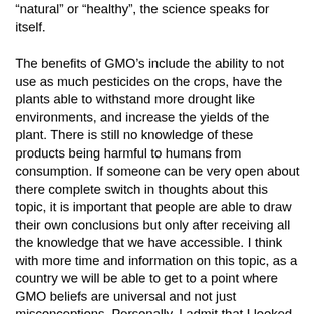“natural” or “healthy”, the science speaks for itself.
The benefits of GMO’s include the ability to not use as much pesticides on the crops, have the plants able to withstand more drought like environments, and increase the yields of the plant. There is still no knowledge of these products being harmful to humans from consumption. If someone can be very open about there complete switch in thoughts about this topic, it is important that people are able to draw their own conclusions but only after receiving all the knowledge that we have accessible. I think with more time and information on this topic, as a country we will be able to get to a point where GMO beliefs are universal and not just misconceptions. Personally, I admit that I looked at GMO’s negatively simply because of the name and how unnatural it seemed so why would I want to put that into my body. However, through this course, this video, and some researching I have done on my own, I now am for GMO and think it will be a good way to provide food for everyone in our country. I feel like products that advertise that